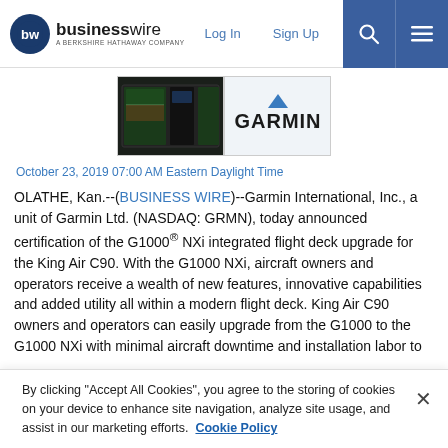businesswire — A Berkshire Hathaway Company | Log In | Sign Up
[Figure (photo): Two images side by side: left shows a G1000 NXi integrated flight deck display panel (dark), right shows the Garmin logo on white background]
October 23, 2019 07:00 AM Eastern Daylight Time
OLATHE, Kan.--(BUSINESS WIRE)--Garmin International, Inc., a unit of Garmin Ltd. (NASDAQ: GRMN), today announced certification of the G1000® NXi integrated flight deck upgrade for the King Air C90. With the G1000 NXi, aircraft owners and operators receive a wealth of new features, innovative capabilities and added utility all within a modern flight deck. King Air C90 owners and operators can easily upgrade from the G1000 to the G1000 NXi with minimal aircraft downtime and installation labor to
By clicking "Accept All Cookies", you agree to the storing of cookies on your device to enhance site navigation, analyze site usage, and assist in our marketing efforts. Cookie Policy